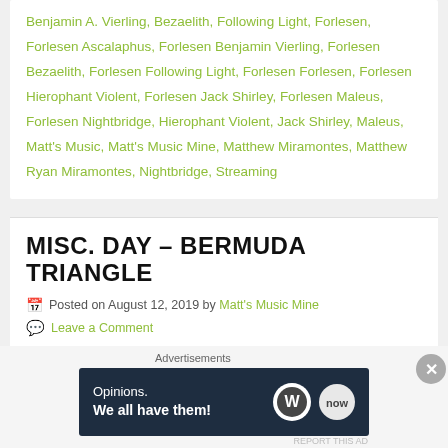Benjamin A. Vierling, Bezaelith, Following Light, Forlesen, Forlesen Ascalaphus, Forlesen Benjamin Vierling, Forlesen Bezaelith, Forlesen Following Light, Forlesen Forlesen, Forlesen Hierophant Violent, Forlesen Jack Shirley, Forlesen Maleus, Forlesen Nightbridge, Hierophant Violent, Jack Shirley, Maleus, Matt's Music, Matt's Music Mine, Matthew Miramontes, Matthew Ryan Miramontes, Nightbridge, Streaming
MISC. DAY – BERMUDA TRIANGLE
Posted on August 12, 2019 by Matt's Music Mine
Leave a Comment
[Figure (infographic): Advertisement banner: dark navy background with text 'Opinions. We all have them!' and WordPress and Bloger logos on the right.]